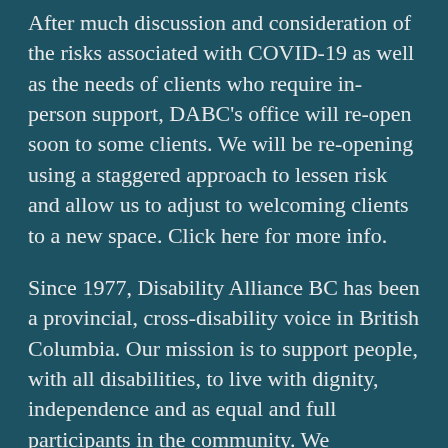After much discussion and consideration of the risks associated with COVID-19 as well as the needs of clients who require in-person support, DABC's office will re-open soon to some clients. We will be re-opening using a staggered approach to lessen risk and allow us to adjust to welcoming clients to a new space. Click here for more info.
Since 1977, Disability Alliance BC has been a provincial, cross-disability voice in British Columbia. Our mission is to support people, with all disabilities, to live with dignity, independence and as equal and full participants in the community. We champion issues impacting the lives of people with disabilities through our direct services, community partnerships, advocacy, research and publications.